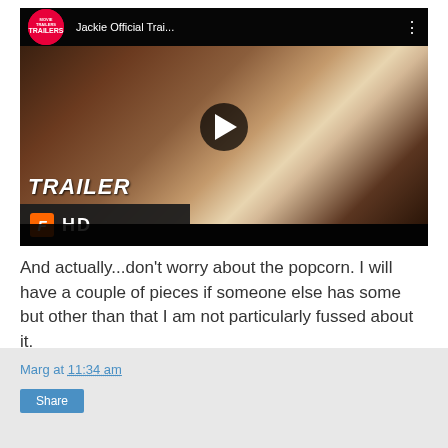[Figure (screenshot): YouTube-style video thumbnail for 'Jackie Official Trai...' showing a woman in a white dress with people in formal attire behind her, with TRAILERS badge, play button, TRAILER label, Fandango HD logo overlay, and black bars top and bottom.]
And actually...don't worry about the popcorn. I will have a couple of pieces if someone else has some but other than that I am not particularly fussed about it.
Marg at 11:34 am
Share